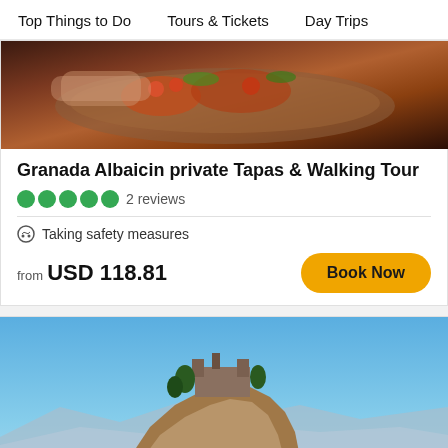Top Things to Do   Tours & Tickets   Day Trips
[Figure (photo): Close-up photo of tapas food on a wooden board, with tomatoes and garnish, warm tones]
Granada Albaicin private Tapas & Walking Tour
2 reviews
Taking safety measures
from USD 118.81
Book Now
[Figure (photo): Aerial view of a Spanish hilltop castle/fortress (Montefrío style) with white buildings below, blue sky and mountains in the background]